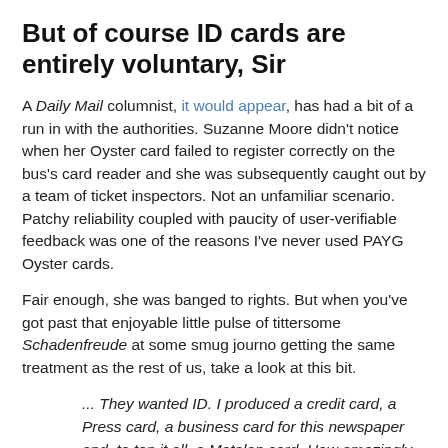But of course ID cards are entirely voluntary, Sir
A Daily Mail columnist, it would appear, has had a bit of a run in with the authorities. Suzanne Moore didn't notice when her Oyster card failed to register correctly on the bus's card reader and she was subsequently caught out by a team of ticket inspectors. Not an unfamiliar scenario. Patchy reliability coupled with paucity of user-verifiable feedback was one of the reasons I've never used PAYG Oyster cards.
Fair enough, she was banged to rights. But when you've got past that enjoyable little pulse of tittersome Schadenfreude at some smug journo getting the same treatment as the rest of us, take a look at this bit.
... They wanted ID. I produced a credit card, a Press card, a business card for this newspaper and, to top it all, a Matalan card. How amazingly normal could I be? But it wasn't good enough. By now I was mystified. And late. And annoyed. 'We want a driving licence or a passport.'